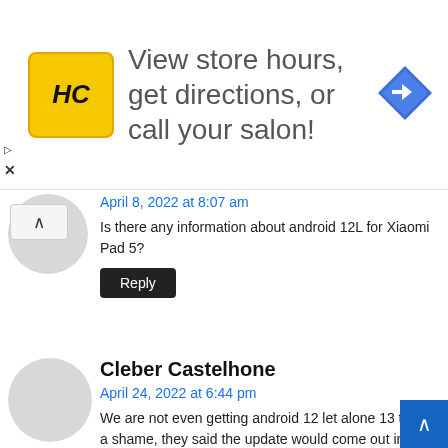[Figure (other): Advertisement banner with HC logo (yellow square with black HC text), text 'View store hours, get directions, or call your salon!', and a blue navigation arrow icon on the right]
April 8, 2022 at 8:07 am
Is there any information about android 12L for Xiaomi Pad 5?
Reply
Cleber Castelhone
April 24, 2022 at 6:44 pm
We are not even getting android 12 let alone 13 this is a shame, they said the update would come out in the first batch, we are already finishing the fourth month and nothing. just post lists and lists
Reply